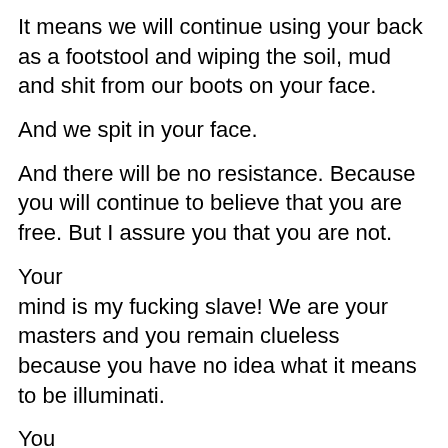It means we will continue using your back as a footstool and wiping the soil, mud and shit from our boots on your face.
And we spit in your face.
And there will be no resistance. Because you will continue to believe that you are free. But I assure you that you are not.
Your
mind is my fucking slave! We are your masters and you remain clueless
because you have no idea what it means to be illuminati.
You
think that enlightenment is something for buddhists and yogis only. You
think that illuminated is something that has to do with Roy G. Biv.
But what you refuse
to accept is what keeps you captive. What you have no